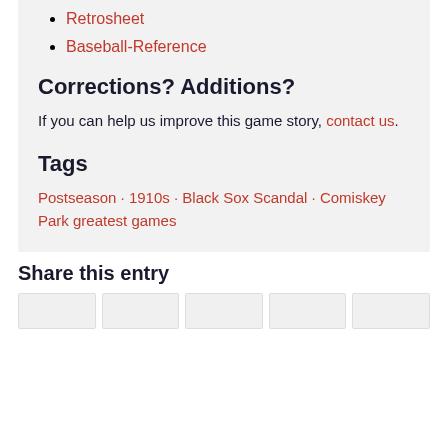Retrosheet
Baseball-Reference
Corrections? Additions?
If you can help us improve this game story, contact us.
Tags
Postseason · 1910s · Black Sox Scandal · Comiskey Park greatest games
Share this entry